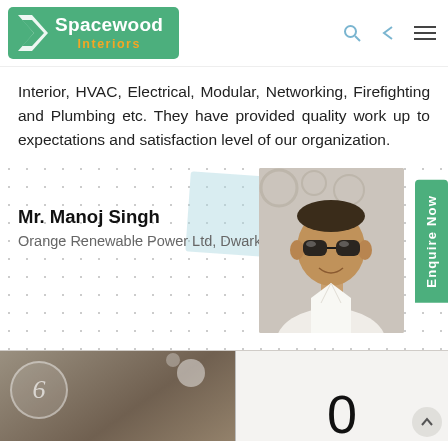[Figure (logo): Spacewood Interiors logo on green background with arrow icon]
Interior, HVAC, Electrical, Modular, Networking, Fire-fighting and Plumbing etc. They have provided quality work up to expectations and satisfaction level of our organization.
Mr. Manoj Singh
Orange Renewable Power Ltd, Dwarka
[Figure (photo): Photo of Mr. Manoj Singh wearing sunglasses and white shirt]
[Figure (screenshot): Bottom section showing a circular logo on left image and number 0 on right, carousel navigation]